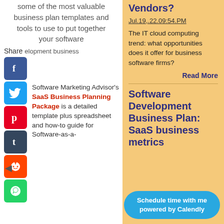some of the most valuable business plan templates and tools to use to put together your software
Share elopment business
Software Marketing Advisor's SaaS Business Planning Package is a detailed template plus spreadsheet and how-to guide for Software-as-a-
Vendors?
Jul.19,.22.09:54.PM
The IT cloud computing trend: what opportunities does it offer for business software firms?
Read More
Software Development Business Plan: SaaS business metrics